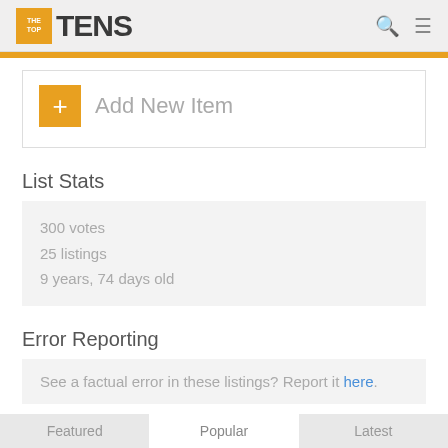THE TOP TENS
+ Add New Item
List Stats
300 votes
25 listings
9 years, 74 days old
Error Reporting
See a factual error in these listings? Report it here.
Featured  Popular  Latest